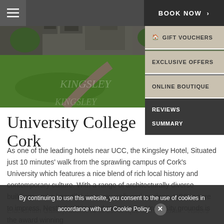BOOK NOW
[Figure (photo): Exterior view of University College Cork campus showing Gothic-style stone buildings with green lawn in the foreground. The word KINGSLEY is faintly visible as a watermark.]
GIFT VOUCHERS
EXCLUSIVE OFFERS
ONLINE BOUTIQUE
REVIEWS
SUMMARY
University College Cork
As one of the leading hotels near UCC, the Kingsley Hotel, Situated just 10 minutes' walk from the sprawling campus of Cork's University which features a nice blend of rich local history and contemporary culture. With a range of architecturally diverse buildings and a beautiful river way walk and gardens, UCC is sure to impress. Nestled within aged trees on the University grounds is the award winning Elucksman Gallery, definitive of our unique architectural... visitors
By continuing to use this website, you consent to the use of cookies in accordance with our Cookie Policy.